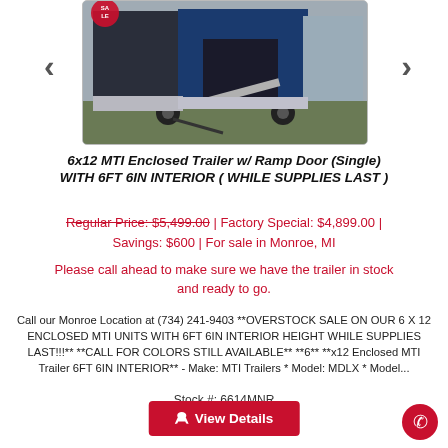[Figure (photo): Photo of a blue enclosed trailer with ramp door open, parked on grass, viewed from front-right angle. A sale badge is visible top-left of the image. Navigation arrows flank the photo.]
6x12 MTI Enclosed Trailer w/ Ramp Door (Single) WITH 6FT 6IN INTERIOR ( WHILE SUPPLIES LAST )
Regular Price: $5,499.00 | Factory Special: $4,899.00 | Savings: $600 | For sale in Monroe, MI
Please call ahead to make sure we have the trailer in stock and ready to go.
Call our Monroe Location at (734) 241-9403 **OVERSTOCK SALE ON OUR 6 X 12 ENCLOSED MTI UNITS WITH 6FT 6IN INTERIOR HEIGHT WHILE SUPPLIES LAST!!!** **CALL FOR COLORS STILL AVAILABLE** **6** **x12 Enclosed MTI Trailer 6FT 6IN INTERIOR** - Make: MTI Trailers * Model: MDLX * Model...
Stock #: 6614MNR